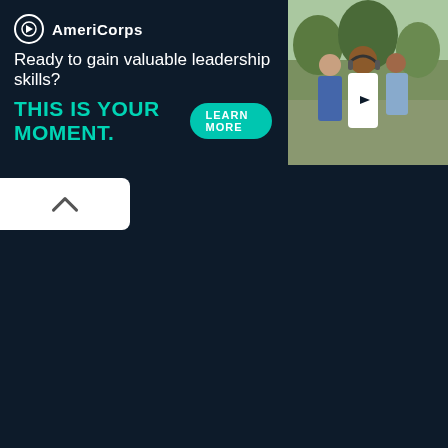[Figure (screenshot): AmeriCorps advertisement banner with dark navy background. Shows AmeriCorps logo (circle with arrow icon), tagline 'Ready to gain valuable leadership skills?', headline 'THIS IS YOUR MOMENT.' in teal, a 'LEARN MORE' teal button, and a photo of young people on the right side. Skip/close controls (triangle and X) in top right.]
[Figure (screenshot): A small white rounded rectangle containing an upward-pointing chevron (^) arrow, positioned below the ad on the left side of the dark navy page background.]